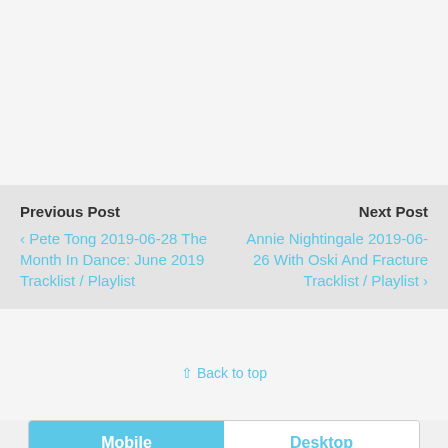Previous Post
‹ Pete Tong 2019-06-28 The Month In Dance: June 2019 Tracklist / Playlist

Next Post
Annie Nightingale 2019-06-26 With Oski And Fracture Tracklist / Playlist ›
⇪ Back to top
Mobile  Desktop